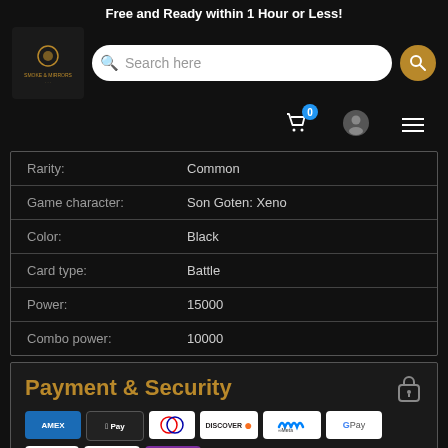Free and Ready within 1 Hour or Less!
[Figure (screenshot): Website navigation bar with logo (Smoke & Mirrors), search bar, cart icon with badge 0, user icon, and hamburger menu]
| Rarity: | Common |
| Game character: | Son Goten: Xeno |
| Color: | Black |
| Card type: | Battle |
| Power: | 15000 |
| Combo power: | 10000 |
Payment & Security
[Figure (infographic): Payment method badges: AMEX, Apple Pay, Diners, Discover, Meta Pay, Google Pay, Mastercard, PayPal, OPay]